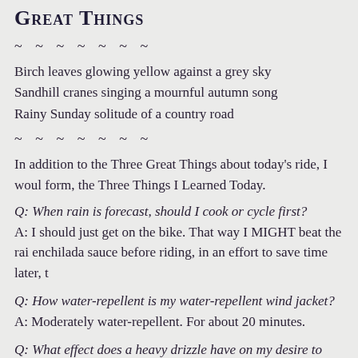Great Things
~ ~ ~ ~ ~ ~ ~
Birch leaves glowing yellow against a grey sky
Sandhill cranes singing a mournful autumn song
Rainy Sunday solitude of a country road
~ ~ ~ ~ ~ ~ ~
In addition to the Three Great Things about today's ride, I would form, the Three Things I Learned Today.
Q: When rain is forecast, should I cook or cycle first?
A: I should just get on the bike. That way I MIGHT beat the rain enchilada sauce before riding, in an effort to save time later, th
Q: How water-repellent is my water-repellent wind jacket?
A: Moderately water-repellent. For about 20 minutes.
Q: What effect does a heavy drizzle have on my desire to take